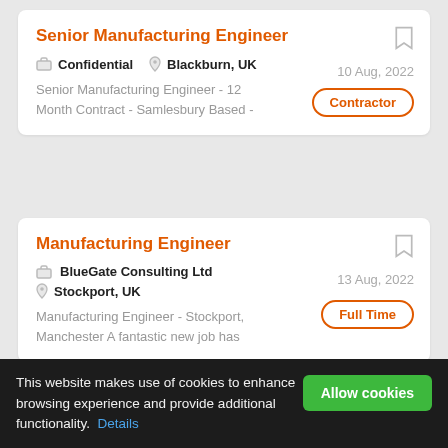Senior Manufacturing Engineer
Confidential · Blackburn, UK · 10 Aug, 2022 · Contractor
Senior Manufacturing Engineer - 12 Month Contract - Samlesbury Based -
Manufacturing Engineer
BlueGate Consulting Ltd · Stockport, UK · 13 Aug, 2022 · Full Time
Manufacturing Engineer - Stockport, Manchester A fantastic new job has
This website makes use of cookies to enhance browsing experience and provide additional functionality. Details · Allow cookies